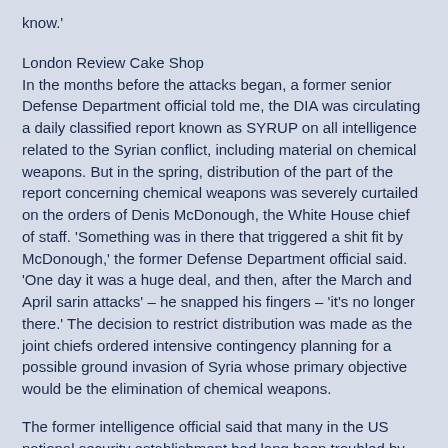know.'
London Review Cake Shop
In the months before the attacks began, a former senior Defense Department official told me, the DIA was circulating a daily classified report known as SYRUP on all intelligence related to the Syrian conflict, including material on chemical weapons. But in the spring, distribution of the part of the report concerning chemical weapons was severely curtailed on the orders of Denis McDonough, the White House chief of staff. 'Something was in there that triggered a shit fit by McDonough,' the former Defense Department official said. 'One day it was a huge deal, and then, after the March and April sarin attacks' – he snapped his fingers – 'it's no longer there.' The decision to restrict distribution was made as the joint chiefs ordered intensive contingency planning for a possible ground invasion of Syria whose primary objective would be the elimination of chemical weapons.
The former intelligence official said that many in the US national security establishment had long been troubled by the president's red line: 'The joint chiefs asked the White House, "What does red line mean? How does that translate into military orders? Troops on the ground? Massive strike? Limited strike?"'